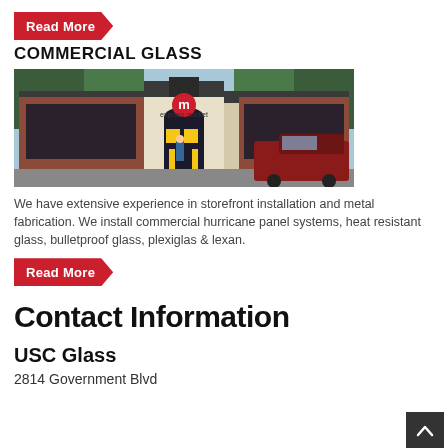Read More
COMMERCIAL GLASS
[Figure (photo): Exterior storefront photo of a commercial building with brick facade, large glass windows/doors, and a red pickup truck parked outside]
We have extensive experience in storefront installation and metal fabrication. We install commercial hurricane panel systems, heat resistant glass, bulletproof glass, plexiglas & lexan.
Read More
Contact Information
USC Glass
2814 Government Blvd